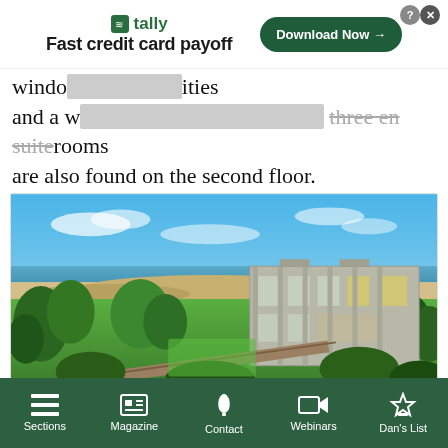[Figure (infographic): Advertisement banner for Tally app: green logo, tagline 'Fast credit card payoff', green 'Download Now →' button, close icons]
windows and amenities and a walk-in closet. Three en suite bathrooms are also found on the second floor.
[Figure (photo): Aerial view of a modern beachfront house with large windows and concrete exterior surrounded by green lawn, dunes, and the ocean in the background under a blue sky.]
Sections | Magazine | Contact | Webinars | Dan's List